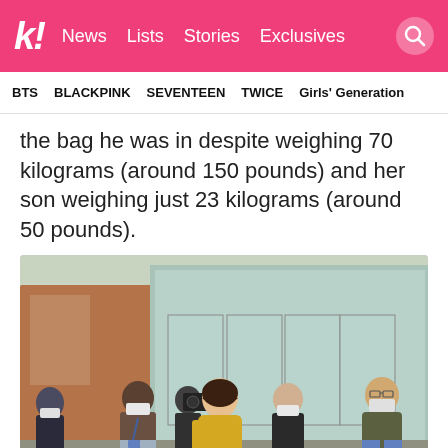k! News Lists Stories Exclusives
BTS BLACKPINK SEVENTEEN TWICE Girls' Generation
the bag he was in despite weighing 70 kilograms (around 150 pounds) and her son weighing just 23 kilograms (around 50 pounds).
[Figure (photo): Several people walking outside a building with glass doors. A woman in a yellow dress is escorted by officials in masks and plain clothes.]